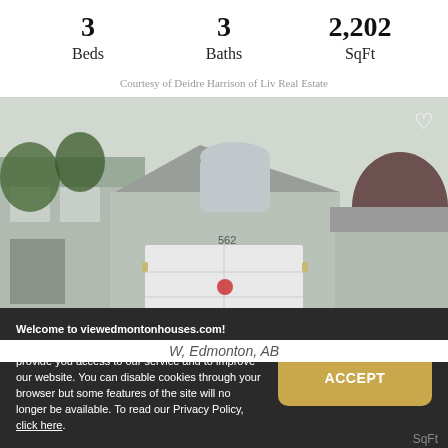3 Beds | 3 Baths | 2,202 SqFt
Courtesy of Deidre Harrison of Liv Real Estate
[Figure (photo): Exterior photo of a two-storey residential house with gray siding, two-car garage, concrete driveway, trees on each side. Photo count overlay: camera icon and '30'. Heart icon in top-right.]
$449,900
Welcome to viewedmontonhouses.com! We use cookies that recognize your device to provide you access to our service and to improve our website. You can disable cookies through your browser but some features of the site will no longer be available. To read our Privacy Policy, click here.
ACCEPT
SqFt